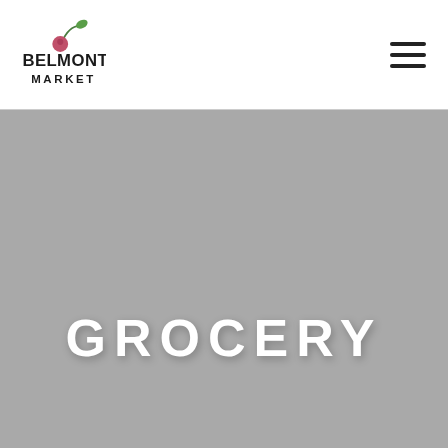[Figure (logo): Belmont Market logo with stylized text and cherry graphic above the word MARKET]
[Figure (other): Hamburger menu icon with three horizontal lines]
[Figure (photo): Gray hero banner background image]
GROCERY